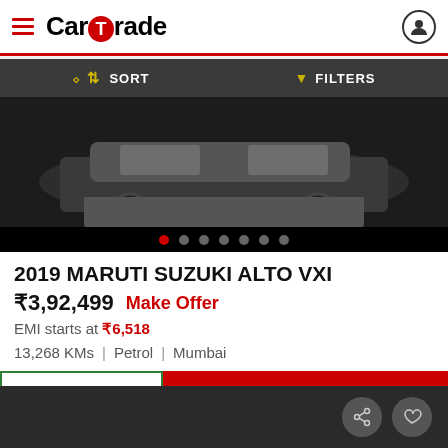CarTrade
SORT   FILTERS
[Figure (screenshot): Car image carousel showing partial rear view of a silver car on dark background, with 7 navigation dots (first dot active/red)]
2019 MARUTI SUZUKI ALTO VXI
₹3,92,499  Make Offer
EMI starts at ₹6,518
13,268 KMs  |  Petrol  |  Mumbai
CHAT   CONTACT SELLER